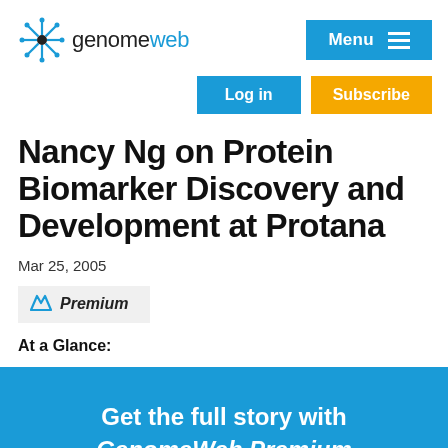genomeweb
Menu
Log in
Subscribe
Nancy Ng on Protein Biomarker Discovery and Development at Protana
Mar 25, 2005
Premium
At a Glance:
Get the full story with GenomeWeb Premium